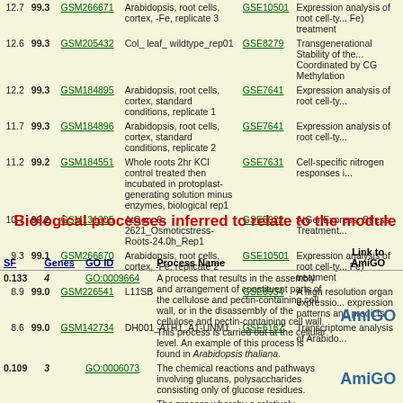| Score | Pct | GSM | Description | GSE | Title |
| --- | --- | --- | --- | --- | --- |
| 12.7 | 99.3 | GSM266671 | Arabidopsis, root cells, cortex, -Fe, replicate 3 | GSE10501 | Expression analysis of root cell-ty... Fe) treatment |
| 12.6 | 99.3 | GSM205432 | Col_ leaf_ wildtype_rep01 | GSE8279 | Transgenerational Stability of the... Coordinated by CG Methylation |
| 12.2 | 99.3 | GSM184895 | Arabidopsis, root cells, cortex, standard conditions, replicate 1 | GSE7641 | Expression analysis of root cell-ty... |
| 11.7 | 99.3 | GSM184896 | Arabidopsis, root cells, cortex, standard conditions, replicate 2 | GSE7641 | Expression analysis of root cell-ty... |
| 11.2 | 99.2 | GSM184551 | Whole roots 2hr KCl control treated then incubated in protoplast-generating solution minus enzymes, biological rep1 | GSE7631 | Cell-specific nitrogen responses i... |
| 10.7 | 99.2 | GSM131305 | AtGen_6-2621_Osmoticstress-Roots-24.0h_Rep1 | GSE5622 | AtGenExpress: Stress Treatment... |
| 9.3 | 99.1 | GSM266670 | Arabidopsis, root cells, cortex, -Fe, replicate 2 | GSE10501 | Expression analysis of root cell-ty... Fe) treatment |
| 8.9 | 99.0 | GSM226541 | L11SB | GSE8934 | A high resolution organ expressio... expression patterns and predicts |
| 8.6 | 99.0 | GSM142734 | DH001_ATH1_A1-UNM1 | GSE6162 | Transcriptome analysis of Arabido... |
Biological processes inferred to relate to the module
| SF | Genes | GO ID | Process Name | Link to AmiGO |
| --- | --- | --- | --- | --- |
| 0.133 | 4 | GO:0009664 | A process that results in the assembly and arrangement of constituent parts of the cellulose and pectin-containing cell wall, or in the disassembly of the cellulose and pectin-containing cell wall. This process is carried out at the cellular level. An example of this process is found in Arabidopsis thaliana. | AmiGO |
| 0.109 | 3 | GO:0006073 | The chemical reactions and pathways involving glucans, polysaccharides consisting only of glucose residues. | AmiGO |
|  |  |  | The process whereby a relatively unspecialized cell... |  |